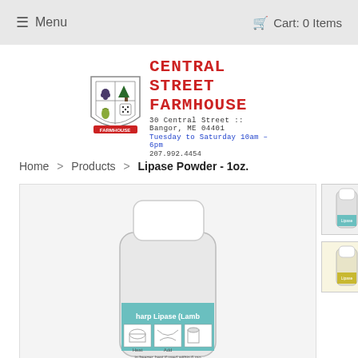≡ Menu   🛒 Cart: 0 Items
[Figure (logo): Central Street Farmhouse shield logo with four quadrant crest]
CENTRAL STREET FARMHOUSE
30 Central Street :: Bangor, ME 04401
Tuesday to Saturday 10am - 6pm
207.992.4454
Home > Products > Lipase Powder - 1oz.
[Figure (photo): Product photo of a white plastic bottle labeled 'Sharp Lipase (Lamb)' with instructional images on the label]
[Figure (photo): Thumbnail of Lipase Powder bottle, front view]
[Figure (photo): Thumbnail of Lipase Powder bottle, alternate view]